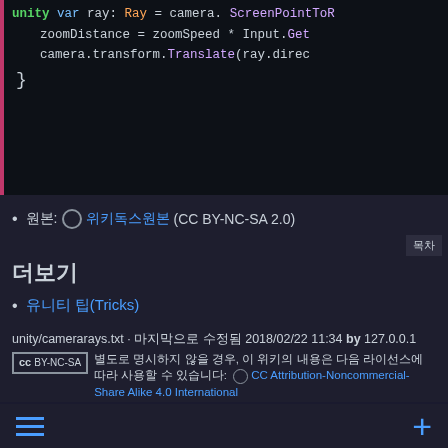[Figure (screenshot): Unity code editor screenshot showing C# code lines: var ray: Ray = camera.ScreenPointToR..., zoomDistance = zoomSpeed * Input.Get..., camera.transform.Translate(ray.direc..., closing brace }]
원본: 🌐 위키독스원본 (CC BY-NC-SA 2.0)
더보기
유니티 팁(Tricks)
유니티3D ( Unity3D )
unity/camerarays.txt · 마지막으로 수정됨 2018/02/22 11:34 by 127.0.0.1
별도로 명시하지 않을 경우, 이 위키의 내용은 다음 라이선스에 따라 사용할 수 있습니다: 🌐 CC Attribution-Noncommercial-Share Alike 4.0 International